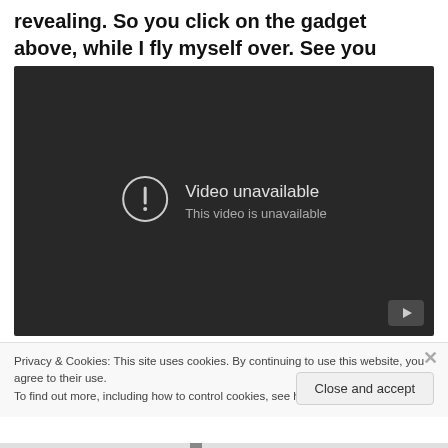revealing. So you click on the gadget above, while I fly myself over. See you there!
[Figure (screenshot): YouTube embedded video player showing 'Video unavailable - This video is unavailable' error message on a dark background, with a YouTube logo button in the bottom right corner.]
Privacy & Cookies: This site uses cookies. By continuing to use this website, you agree to their use.
To find out more, including how to control cookies, see here: Cookie Policy
Close and accept